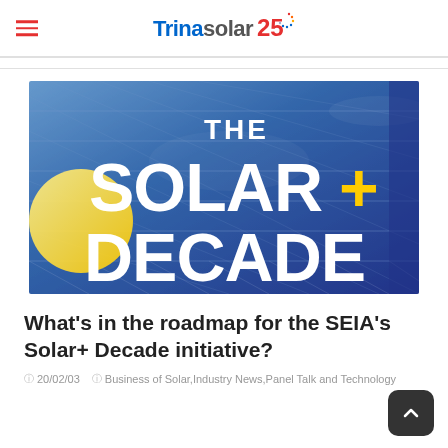Trinasolar 25
[Figure (illustration): Solar panel banner image with text overlay reading 'THE SOLAR+ DECADE' in large white and yellow bold letters on a blue solar panel background]
What's in the roadmap for the SEIA's Solar+ Decade initiative?
20/02/03   Business of Solar, Industry News, Panel Talk and Technology